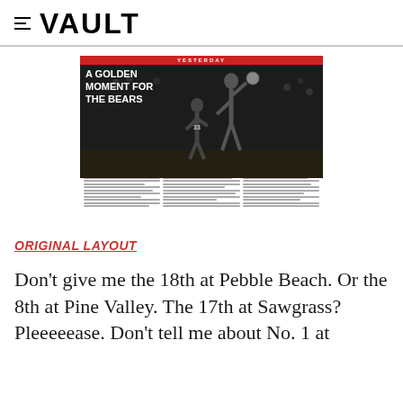≡ VAULT
[Figure (photo): Magazine spread thumbnail showing a black and white basketball photo with the headline 'A GOLDEN MOMENT FOR THE BEARS' on a YESTERDAY banner, with text columns below the photo.]
ORIGINAL LAYOUT
Don't give me the 18th at Pebble Beach. Or the 8th at Pine Valley. The 17th at Sawgrass? Pleeeeease. Don't tell me about No. 1 at